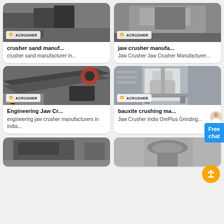[Figure (photo): Crusher sand manufacturing machinery photo with Acrusher logo badge]
crusher sand manuf...
crusher sand manufacturer in...
[Figure (photo): Jaw crusher manufacturing machinery photo with Acrusher logo badge]
jaw crusher manufa...
Jaw Crusher Jaw Crusher Manufacturer...
[Figure (photo): Engineering jaw crusher photo with Acrusher logo badge]
Engineering Jaw Cr...
engineering jaw crusher manufacturers in india...
[Figure (photo): Bauxite crushing machine in factory with Acrusher logo badge]
bauxite crushing ma...
Jaw Crusher India OrePlus Grinding...
[Figure (photo): Industrial crusher machinery photo (bottom left, partially visible)]
[Figure (photo): Industrial crusher machinery photo (bottom right, partially visible)]